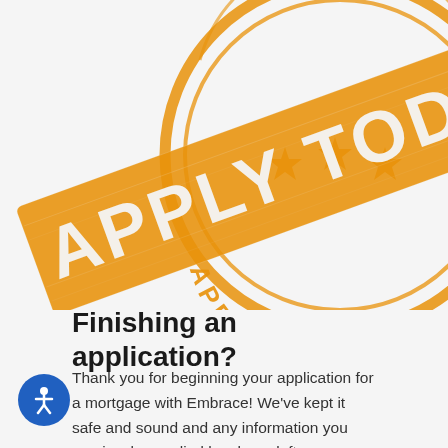[Figure (illustration): An orange rubber stamp graphic showing 'APPLY TODAY' in large distressed block letters in the center banner, surrounded by a circular stamp design with 'APPLY TODAY' text along the bottom arc, three stars in the middle, and decorative circular border elements. The stamp is rotated slightly counterclockwise and partially cropped at top and left edges.]
Finishing an application?
Thank you for beginning your application for a mortgage with Embrace! We've kept it safe and sound and any information you previously supplied has been left untouched. Pick up right where you left off — log in to your application now using the